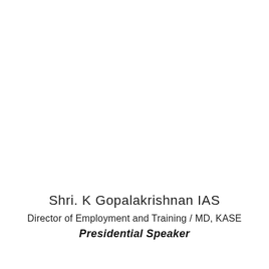Shri. K Gopalakrishnan IAS
Director of Employment and Training / MD, KASE
Presidential Speaker